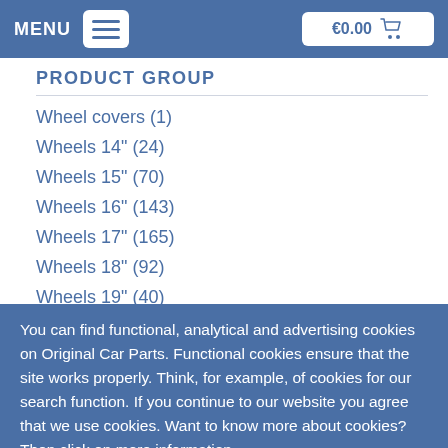MENU  €0.00
PRODUCT GROUP
Wheel covers (1)
Wheels 14" (24)
Wheels 15" (70)
Wheels 16" (143)
Wheels 17" (165)
Wheels 18" (92)
Wheels 19" (40)
You can find functional, analytical and advertising cookies on Original Car Parts. Functional cookies ensure that the site works properly. Think, for example, of cookies for our search function. If you continue to our website you agree that we use cookies. Want to know more about cookies? Then click on more information